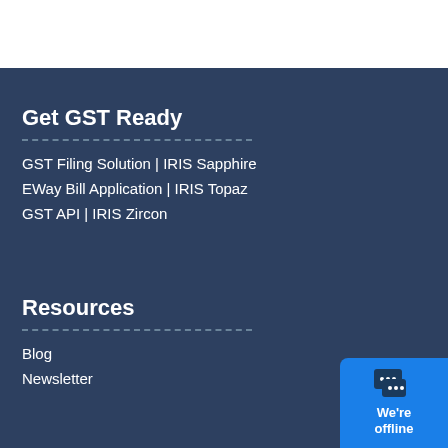Get GST Ready
GST Filing Solution | IRIS Sapphire
EWay Bill Application | IRIS Topaz
GST API | IRIS Zircon
Resources
Blog
Newsletter
[Figure (other): Chat widget button with speech bubble icon and 'We're offline' text on blue background]